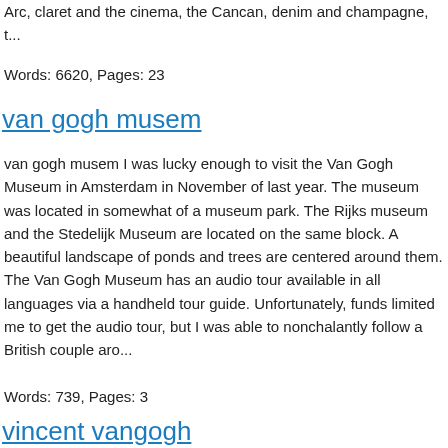Arc, claret and the cinema, the Cancan, denim and champagne, t...
Words: 6620, Pages: 23
van gogh musem
van gogh musem I was lucky enough to visit the Van Gogh Museum in Amsterdam in November of last year. The museum was located in somewhat of a museum park. The Rijks museum and the Stedelijk Museum are located on the same block. A beautiful landscape of ponds and trees are centered around them. The Van Gogh Museum has an audio tour available in all languages via a handheld tour guide. Unfortunately, funds limited me to get the audio tour, but I was able to nonchalantly follow a British couple aro...
Words: 739, Pages: 3
vincent vangogh